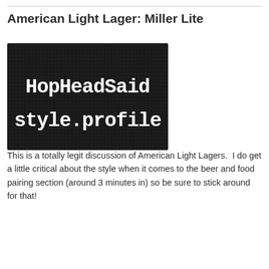American Light Lager: Miller Lite
[Figure (logo): HopHeadSaid style.profile logo — dark background with white typewriter-style text]
This is a totally legit discussion of American Light Lagers.  I do get a little critical about the style when it comes to the beer and food pairing section (around 3 minutes in) so be sure to stick around for that!